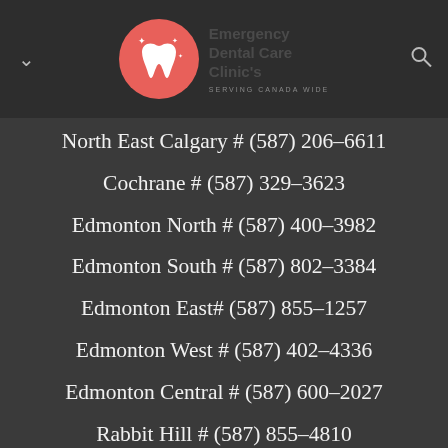[Figure (logo): Emergency Dental Care Clinic's logo with red circle containing a white tooth icon, text reading Emergency Dental Care Clinic's, SERVING CANADA WIDE]
North East Calgary # (587) 206–6611
Cochrane # (587) 329–3623
Edmonton North # (587) 400–3982
Edmonton South # (587) 802–3384
Edmonton East# (587) 855–1257
Edmonton West # (587) 402–4336
Edmonton Central # (587) 600–2027
Rabbit Hill # (587) 855–4810